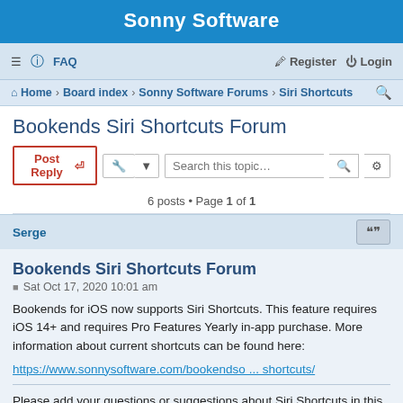Sonny Software
≡ FAQ   Register Login
Home · Board index · Sonny Software Forums · Siri Shortcuts
Bookends Siri Shortcuts Forum
Post Reply   [tools]   Search this topic…
6 posts • Page 1 of 1
Serge
Bookends Siri Shortcuts Forum
Sat Oct 17, 2020 10:01 am
Bookends for iOS now supports Siri Shortcuts. This feature requires iOS 14+ and requires Pro Features Yearly in-app purchase. More information about current shortcuts can be found here:
https://www.sonnysoftware.com/bookendso ... shortcuts/
Please add your questions or suggestions about Siri Shortcuts in this forum thread.